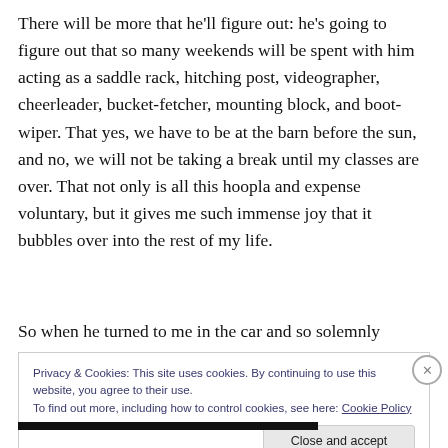There will be more that he'll figure out: he's going to figure out that so many weekends will be spent with him acting as a saddle rack, hitching post, videographer, cheerleader, bucket-fetcher, mounting block, and boot-wiper. That yes, we have to be at the barn before the sun, and no, we will not be taking a break until my classes are over. That not only is all this hoopla and expense voluntary, but it gives me such immense joy that it bubbles over into the rest of my life.
So when he turned to me in the car and so solemnly
Privacy & Cookies: This site uses cookies. By continuing to use this website, you agree to their use.
To find out more, including how to control cookies, see here: Cookie Policy
Close and accept